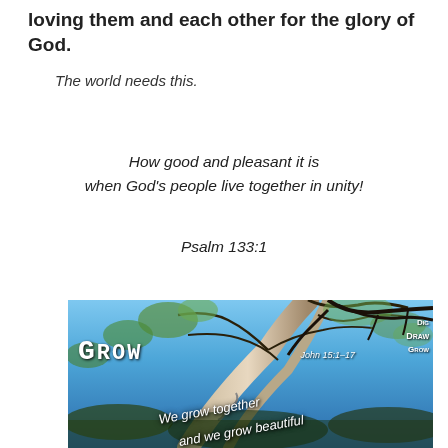loving them and each other for the glory of God.
The world needs this.
How good and pleasant it is
when God's people live together in unity!
Psalm 133:1
[Figure (photo): Upward view through tall trees with blue sky visible through branches. Text overlays read: GROW, We grow together, and we grow beautiful, John 15:1–17, and a Dig Draw Grow logo in upper right.]